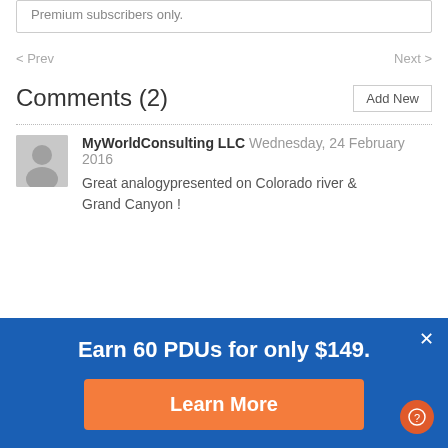Premium subscribers only.
< Prev    Next >
Comments (2)
MyWorldConsulting LLC Wednesday, 24 February 2016
Great analogypresented on Colorado river & Grand Canyon !
[Figure (infographic): Blue promotional banner: Earn 60 PDUs for only $149. Learn More button. Close X button. Help circle icon.]